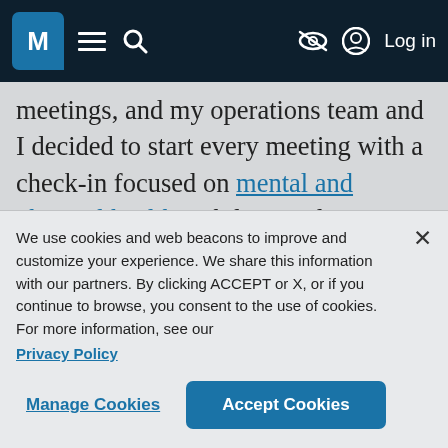M [logo] ☰ 🔍 [eye-slash] Log in
meetings, and my operations team and I decided to start every meeting with a check-in focused on mental and physical health. While I've always been frank about wanting to support people's health, we'd never met as a team so often and with such a deliberate focus on mental health.
We use cookies and web beacons to improve and customize your experience. We share this information with our partners. By clicking ACCEPT or X, or if you continue to browse, you consent to the use of cookies. For more information, see our Privacy Policy
Manage Cookies | Accept Cookies